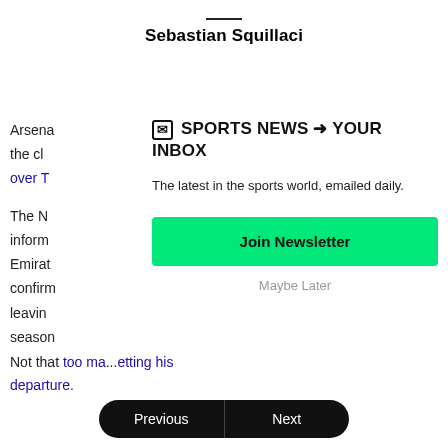Sebastian Squillaci
Arsenal
the cl
over T

The N
inform
Emirat
confirm
leavin
season
[Figure (screenshot): Newsletter signup overlay with title 'SPORTS NEWS → YOUR INBOX', subtitle 'The latest in the sports world, emailed daily.', green 'Join Newsletter' button, and 'Maybe Later' text link]
Not that too ma...etting his departure.
Previous | Next